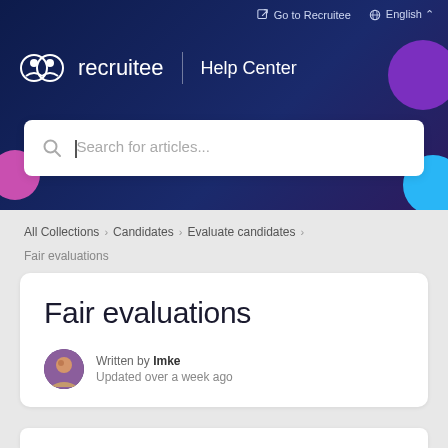Go to Recruitee | English
[Figure (logo): Recruitee logo with Help Center text on dark navy background]
Search for articles...
All Collections > Candidates > Evaluate candidates
Fair evaluations
Fair evaluations
Written by Imke
Updated over a week ago